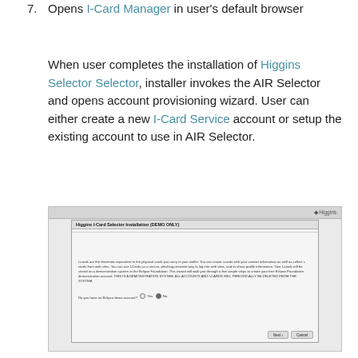7. Opens I-Card Manager in user's default browser
When user completes the installation of Higgins Selector Selector, installer invokes the AIR Selector and opens account provisioning wizard. User can either create a new I-Card Service account or setup the existing account to use in AIR Selector.
[Figure (screenshot): Screenshot of Higgins I-Card Selector Installation (DEMO ONLY) dialog window showing text about i-cards and an Eclipse demo account prompt with Yes/No radio buttons and Next/Cancel buttons.]
Account provisioning wizard
AIR Selector is invoked from web browser using Higgins Selector Selector with the RP Policy. AIR